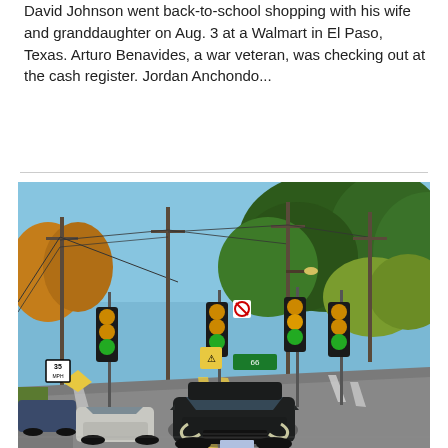David Johnson went back-to-school shopping with his wife and granddaughter on Aug. 3 at a Walmart in El Paso, Texas. Arturo Benavides, a war veteran, was checking out at the cash register. Jordan Anchondo...
[Figure (photo): Street-level photograph of a multi-lane road with traffic. A dark SUV (Ford Edge) is in the foreground heading toward the camera, and a white sedan is visible in the left lane. The road has yellow dashed lane markings. Multiple traffic lights hang overhead on wires, and utility poles with power lines line the road. Green road signs are visible in the distance. Dense green and yellow-green trees line the right side of the road under a clear blue sky.]